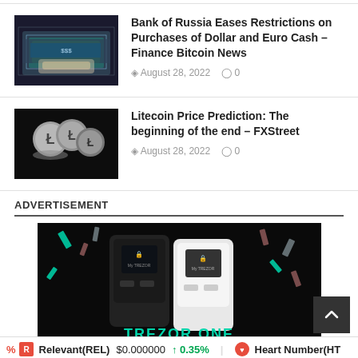[Figure (photo): Photo of cash money (dollar bills) being held by hands]
Bank of Russia Eases Restrictions on Purchases of Dollar and Euro Cash – Finance Bitcoin News
August 28, 2022   0
[Figure (photo): Photo of Litecoin physical coins arranged on a dark background]
Litecoin Price Prediction: The beginning of the end – FXStreet
August 28, 2022   0
ADVERTISEMENT
[Figure (photo): Trezor One hardware wallet advertisement showing black and white Trezor devices on dark background with colorful confetti, text reading TREZOR ONE]
Relevant(REL) $0.000000 ↑ 0.35%   Heart Number(HT